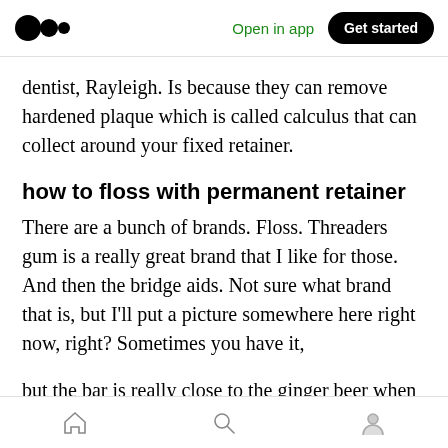Open in app  Get started
dentist, Rayleigh. Is because they can remove hardened plaque which is called calculus that can collect around your fixed retainer.
how to floss with permanent retainer
There are a bunch of brands. Floss. Threaders gum is a really great brand that I like for those. And then the bridge aids. Not sure what brand that is, but I'll put a picture somewhere here right now, right? Sometimes you have it,
but the bar is really close to the ginger beer when
Home  Search  Profile